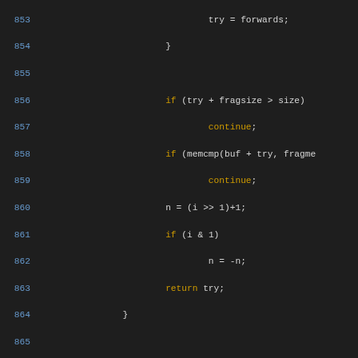[Figure (screenshot): Source code listing showing C code, lines 853-882. Code shows fragment searching logic and buffer_desc struct definition, with syntax highlighting: line numbers in blue, keywords in yellow/green, comments in green italic, identifiers in white/light blue on dark background.]